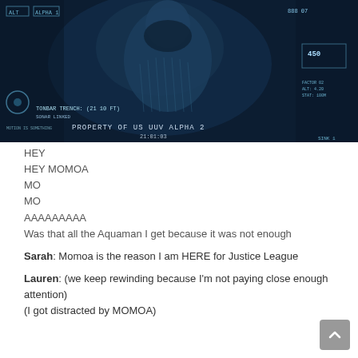[Figure (screenshot): Dark blue-tinted screenshot of Aquaman character from a video/monitor display labeled 'PROPERTY OF US UUV ALPHA 2' with HUD overlay elements including coordinates and numbers like '450' visible on screen.]
HEY
HEY MOMOA
MO
MO
AAAAAAAAA
Was that all the Aquaman I get because it was not enough
Sarah: Momoa is the reason I am HERE for Justice League
Lauren: (we keep rewinding because I'm not paying close enough attention)
(I got distracted by MOMOA)